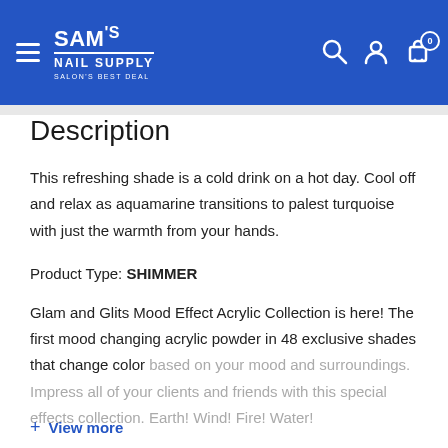SAM's NAIL SUPPLY — SALON'S BEST DEAL
Description
This refreshing shade is a cold drink on a hot day. Cool off and relax as aquamarine transitions to palest turquoise with just the warmth from your hands.
Product Type: SHIMMER
Glam and Glits Mood Effect Acrylic Collection is here! The first mood changing acrylic powder in 48 exclusive shades that change color based on your mood and surroundings. Impress all of your clients and friends with this special effects collection. Earth! Wind! Fire! Water!
+ View more